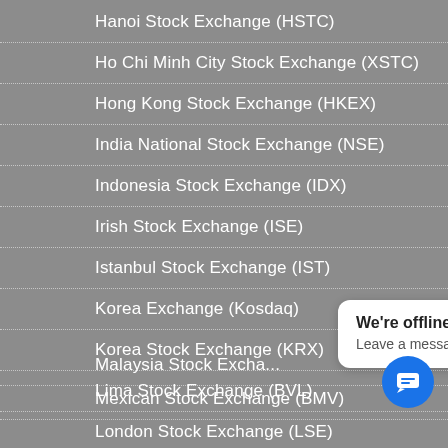Hanoi Stock Exchange (HSTC)
Ho Chi Minh City Stock Exchange (XSTC)
Hong Kong Stock Exchange (HKEX)
India National Stock Exchange (NSE)
Indonesia Stock Exchange (IDX)
Irish Stock Exchange (ISE)
Istanbul Stock Exchange (IST)
Korea Exchange (Kosdaq)
Korea Stock Exchange (KRX)
Lima Stock Exchange (BVL)
London Stock Exchange (LSE)
Madrid Stock Exchange (MADX)
Malaysia Stock Exchange
Mexican Stock Exchange (BMV)
We're offline
Leave a message